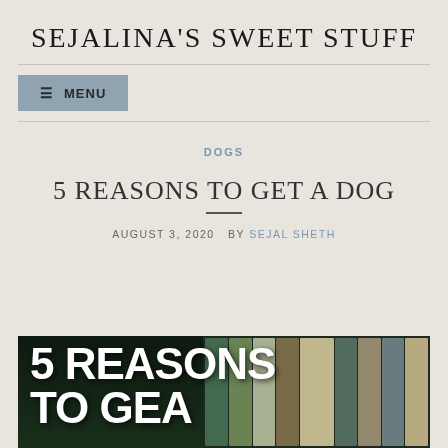SEJALINA'S SWEET STUFF
MENU
DOGS
5 REASONS TO GET A DOG
AUGUST 3, 2020  BY SEJAL SHETH
[Figure (photo): Featured image showing '5 REASONS TO GET A' text overlaid on a bookshelf background]